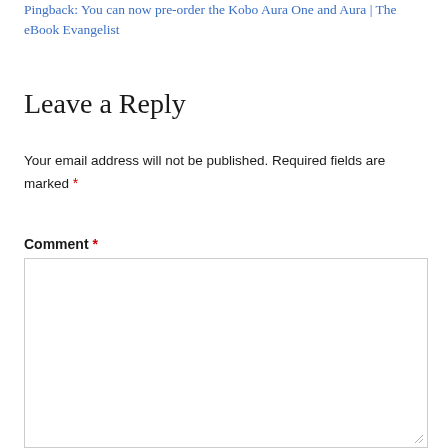Pingback: You can now pre-order the Kobo Aura One and Aura | The eBook Evangelist
Leave a Reply
Your email address will not be published. Required fields are marked *
Comment *